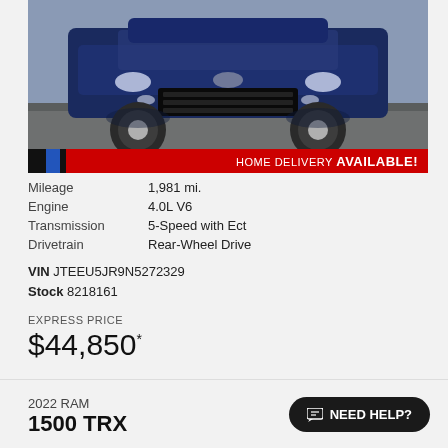[Figure (photo): Front view of a dark navy blue Toyota 4Runner SUV parked on a gray asphalt surface, viewed from a slightly elevated angle showing the hood, grille, and front wheels]
HOME DELIVERY AVAILABLE!
| Mileage | 1,981 mi. |
| Engine | 4.0L V6 |
| Transmission | 5-Speed with Ect |
| Drivetrain | Rear-Wheel Drive |
VIN JTEEU5JR9N5272329
Stock 8218161
EXPRESS PRICE
$44,850*
2022 RAM
1500 TRX
NEED HELP?